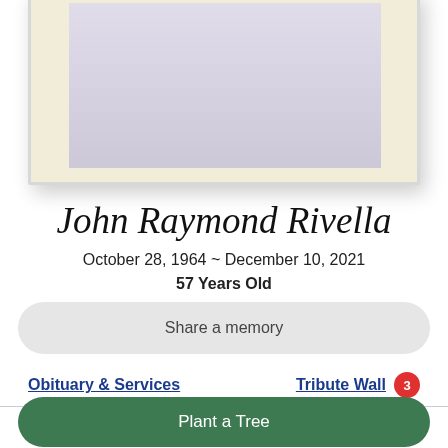[Figure (photo): A framed portrait photo with cream mat, showing a person with a pink/magenta accent visible at the left edge of the photo. The frame has a white border with shadow.]
John Raymond Rivella
October 28, 1964 ~ December 10, 2021
57 Years Old
Share a memory
Obituary & Services
Tribute Wall 3
Plant a Tree